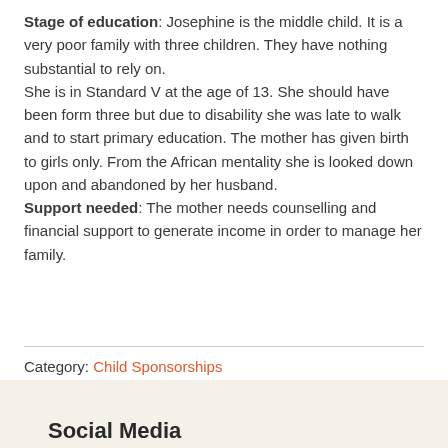Stage of education: Josephine is the middle child. It is a very poor family with three children. They have nothing substantial to rely on. She is in Standard V at the age of 13. She should have been form three but due to disability she was late to walk and to start primary education. The mother has given birth to girls only. From the African mentality she is looked down upon and abandoned by her husband. Support needed: The mother needs counselling and financial support to generate income in order to manage her family.
Category: Child Sponsorships
Social Media